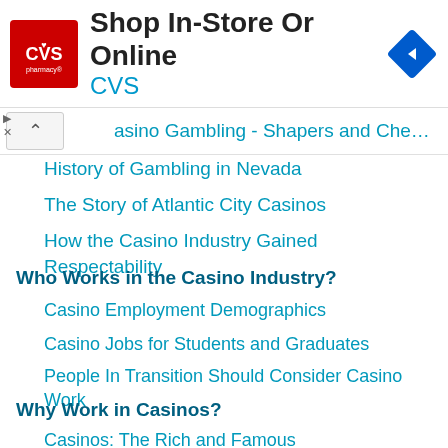[Figure (logo): CVS Pharmacy advertisement banner with logo, 'Shop In-Store Or Online' headline, and navigation icon]
Casino Gambling - Shapers and Cheaters
History of Gambling in Nevada
The Story of Atlantic City Casinos
How the Casino Industry Gained Respectability
Who Works in the Casino Industry?
Casino Employment Demographics
Casino Jobs for Students and Graduates
People In Transition Should Consider Casino Work
Why Work in Casinos?
Casinos: The Rich and Famous
Casinos: International Clientele
Training to Work in Casinos
Casino Career Paths
Potential Benefits of Working in a Casino
Is a Casino Job for You?
Break-in Houses